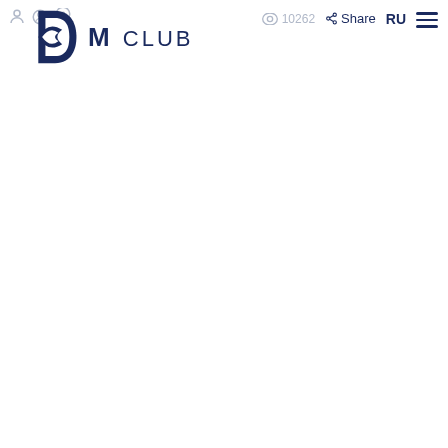[Figure (logo): M Club logo with dark navy blue M icon and text 'M CLUB', navigation icons, view count 10262, Share button, RU language selector, and hamburger menu]